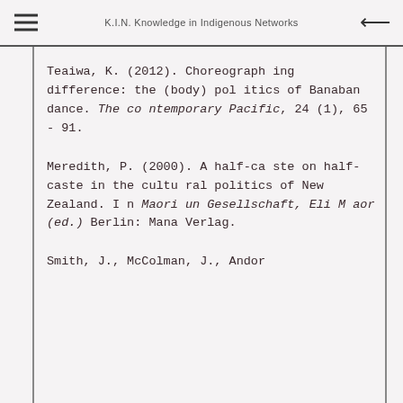K.I.N. Knowledge in Indigenous Networks
Teaiwa, K. (2012). Choreographing difference: the (body) politics of Banaban dance. The contemporary Pacific, 24 (1), 65 - 91.
Meredith, P. (2000). A half-caste on half-caste in the cultural politics of New Zealand. In Maori un Gesellschaft, Eli Maor (ed.) Berlin: Mana Verlag.
Smith, J., McColman, J., Andor...